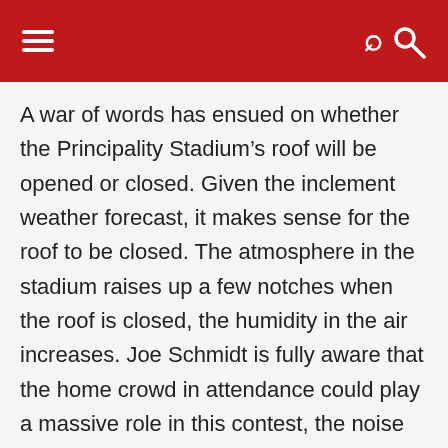Navigation bar with hamburger menu and search icon
A war of words has ensued on whether the Principality Stadium’s roof will be opened or closed. Given the inclement weather forecast, it makes sense for the roof to be closed. The atmosphere in the stadium raises up a few notches when the roof is closed, the humidity in the air increases. Joe Schmidt is fully aware that the home crowd in attendance could play a massive role in this contest, the noise generated could impact set piece calls
We use cookies on our website to give you the most relevant experience by remembering your preferences and repeat visits. By clicking “Accept All”, you consent to the use of ALL the cookies. However, you may visit “Cookie Settings” to provide a controlled consent.
Cookie Settings | Accept All